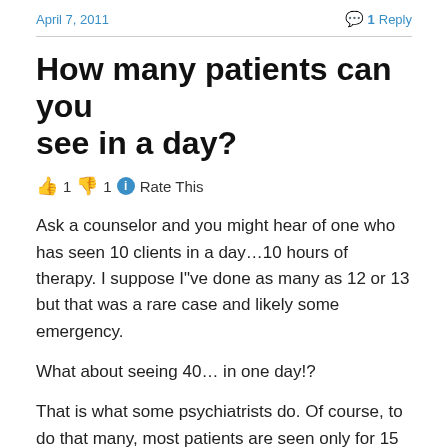April 7, 2011    1 Reply
How many patients can you see in a day?
👍 1 👎 1 ℹ Rate This
Ask a counselor and you might hear of one who has seen 10 clients in a day…10 hours of therapy. I suppose I"ve done as many as 12 or 13 but that was a rare case and likely some emergency.
What about seeing 40… in one day!?
That is what some psychiatrists do. Of course, to do that many, most patients are seen only for 15 minute med checks rather than the 90 minute first session for first-time